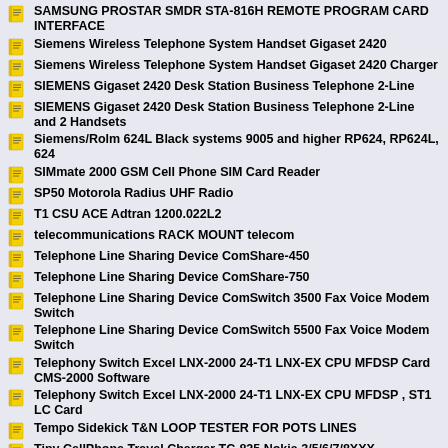SAMSUNG PROSTAR SMDR STA-816H REMOTE PROGRAM CARD INTERFACE
Siemens Wireless Telephone System Handset Gigaset 2420
Siemens Wireless Telephone System Handset Gigaset 2420 Charger
SIEMENS Gigaset 2420 Desk Station Business Telephone 2-Line
SIEMENS Gigaset 2420 Desk Station Business Telephone 2-Line and 2 Handsets
Siemens/Rolm 624L Black systems 9005 and higher RP624, RP624L, 624
SIMmate 2000 GSM Cell Phone SIM Card Reader
SP50 Motorola Radius UHF Radio
T1 CSU ACE Adtran 1200.022L2
telecommunications RACK MOUNT telecom
Telephone Line Sharing Device ComShare-450
Telephone Line Sharing Device ComShare-750
Telephone Line Sharing Device ComSwitch 3500 Fax Voice Modem Switch
Telephone Line Sharing Device ComSwitch 5500 Fax Voice Modem Switch
Telephony Switch Excel LNX-2000 24-T1 LNX-EX CPU MFDSP Card CMS-2000 Software
Telephony Switch Excel LNX-2000 24-T1 LNX-EX CPU MFDSP , ST1 LC Card
Tempo Sidekick T&N LOOP TESTER FOR POTS LINES
Tiny CellPhone Travel Charger TC-825 Nokia 3/5/6/7/8XXX V60/G331T/Q3E3T/T730